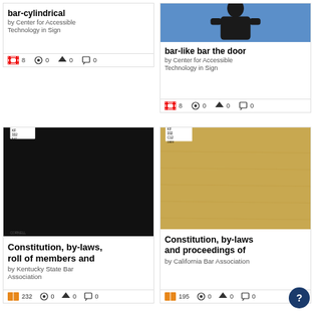[Figure (screenshot): Card showing 'bar-cylindrical' title, by Center for Accessible Technology in Sign, with film icon (8), star (0), comment (0)]
[Figure (screenshot): Card showing 'bar-like bar the door' with video thumbnail of person, by Center for Accessible Technology in Sign, film icon (8), star (0), comment (0)]
[Figure (screenshot): Card showing black book cover for 'Constitution, by-laws, roll of members and' by Kentucky State Bar Association, book icon (232), star (0), comment (0)]
[Figure (screenshot): Card showing tan/brown book cover for 'Constitution, by-laws and proceedings of' by California Bar Association, book icon (195), star (0), comment (0)]